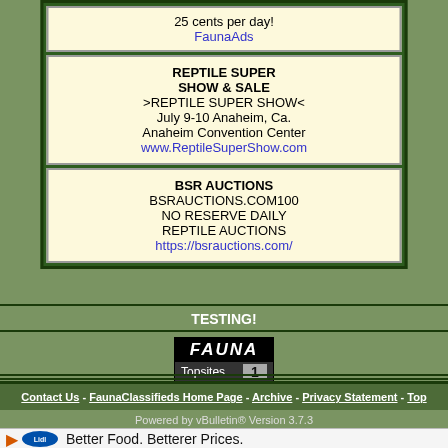[Figure (other): Ad box: REPTILE SUPER SHOW & SALE, >REPTILE SUPER SHOW< July 9-10 Anaheim, Ca. Anaheim Convention Center, www.ReptileSuperShow.com]
[Figure (other): Ad box: BSR AUCTIONS, BSRAUCTIONS.COM100, NO RESERVE DAILY REPTILE AUCTIONS, https://bsrauctions.com/]
TESTING!
[Figure (logo): FAUNA Topsites badge showing rank 1]
Contact Us - FaunaClassifieds Home Page - Archive - Privacy Statement - Top
Powered by vBulletin® Version 3.7.3
[Figure (other): Lidl advertisement banner: Better Food. Betterer Prices. Lidl]